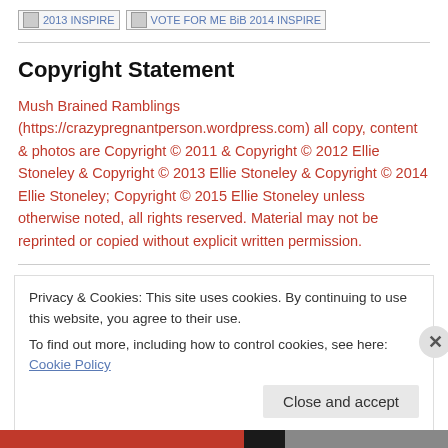[Figure (logo): Two badge/award images: '2013 INSPIRE' and 'VOTE FOR ME BiB 2014 INSPIRE' shown as broken image placeholders with blue text links]
Copyright Statement
Mush Brained Ramblings (https://crazypregnantperson.wordpress.com) all copy, content & photos are Copyright © 2011 & Copyright © 2012 Ellie Stoneley & Copyright © 2013 Ellie Stoneley & Copyright © 2014 Ellie Stoneley; Copyright © 2015 Ellie Stoneley unless otherwise noted, all rights reserved. Material may not be reprinted or copied without explicit written permission.
Privacy & Cookies: This site uses cookies. By continuing to use this website, you agree to their use.
To find out more, including how to control cookies, see here: Cookie Policy